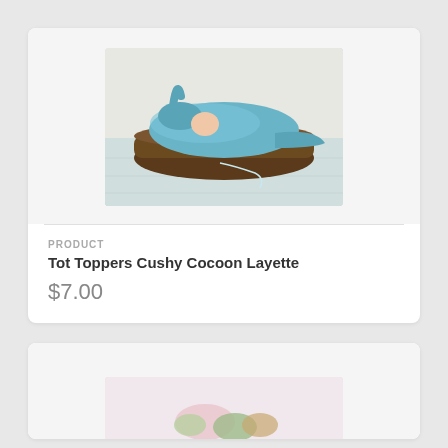[Figure (photo): Newborn baby wrapped in a light blue knit cocoon/layette with a matching pointed hat, sleeping in a dark wicker basket on a light wooden floor background.]
PRODUCT
Tot Toppers Cushy Cocoon Layette
$7.00
[Figure (photo): Partial view of a product photo showing colorful items on a light background, partially cut off at the bottom of the page.]